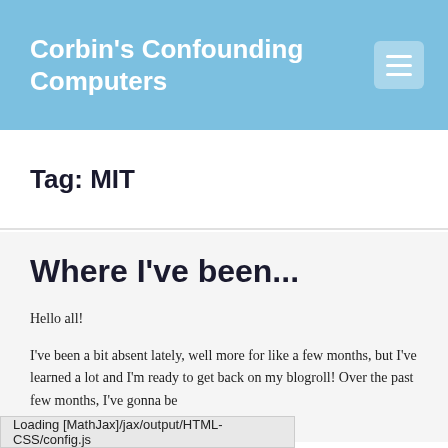Corbin's Confounding Computers
Tag: MIT
Where I've been...
Hello all!
I've been a bit absent lately, well more for like a few months, but I've learned a lot and I'm ready to get back on my blogroll! Over the past few months, I've gonna be
Loading [MathJax]/jax/output/HTML-CSS/config.js